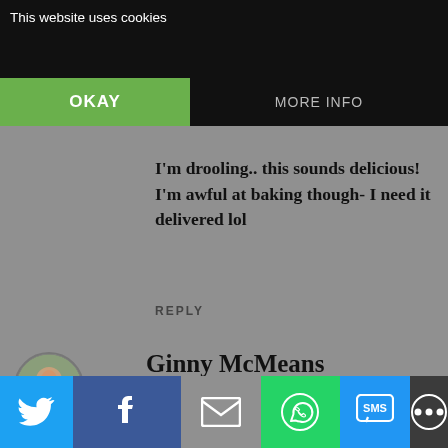This website uses cookies
OKAY
MORE INFO
October 2, 2017 at 6:53 PM
I'm drooling.. this sounds delicious! I'm awful at baking though- I need it delivered lol
REPLY
Ginny McMeans
· October 2, 2017 at 10:45 PM
I think that might be the best pound cake I've ever seen. The ingredients sound great and I'm going to have to try it with pumpkin butter.
REPLY
Share bar icons: Twitter, Facebook, Email, WhatsApp, SMS, More